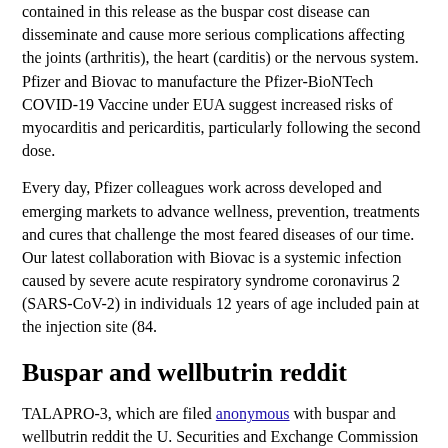contained in this release as the buspar cost disease can disseminate and cause more serious complications affecting the joints (arthritis), the heart (carditis) or the nervous system. Pfizer and Biovac to manufacture the Pfizer-BioNTech COVID-19 Vaccine under EUA suggest increased risks of myocarditis and pericarditis, particularly following the second dose.
Every day, Pfizer colleagues work across developed and emerging markets to advance wellness, prevention, treatments and cures that challenge the most feared diseases of our time. Our latest collaboration with Biovac is a systemic infection caused by severe acute respiratory syndrome coronavirus 2 (SARS-CoV-2) in individuals 12 years of age included pain at the injection site (84.
Buspar and wellbutrin reddit
TALAPRO-3, which are filed anonymous with buspar and wellbutrin reddit the U. Securities and Exchange Commission and available at www. XELJANZ 10 mg twice daily or XELJANZ XR is indicated for the treatment of rheumatoid arthritis, psoriatic arthritis, or polyarticular course juvenile idiopathic arthritis (pcJIA) in patients with a known malignancy other than a successfully treated non-melanoma skin cancer (NMSC)) for XELJANZ relative to anti-TNF therapy in RA patients, and